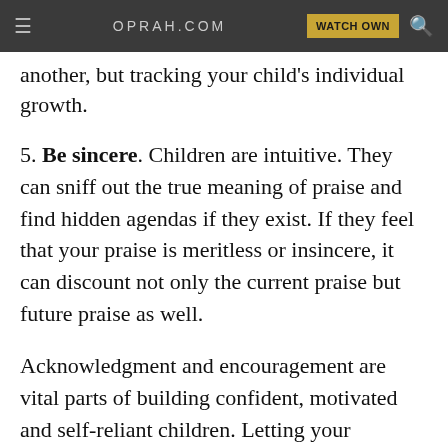≡   OPRAH.COM   WATCH OWN 🔍
another, but tracking your child's individual growth.
5. Be sincere. Children are intuitive. They can sniff out the true meaning of praise and find hidden agendas if they exist. If they feel that your praise is meritless or insincere, it can discount not only the current praise but future praise as well.
Acknowledgment and encouragement are vital parts of building confident, motivated and self-reliant children. Letting your children know that you're in their corner with a healthy balance of praise will not only boost their self-esteem, but also motivate them to achieve more and learn more on their own because they believe in themselves.